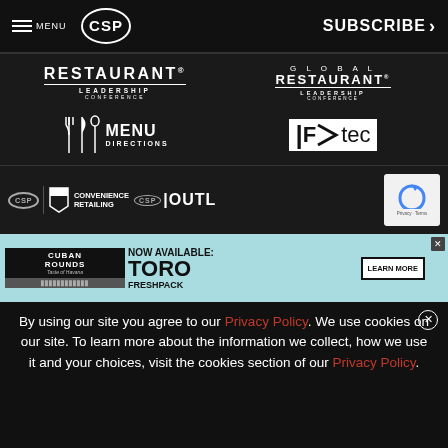MENU | CSP | SUBSCRIBE >
[Figure (logo): Restaurant Leadership Conference logo - white text on dark background]
[Figure (logo): Global Restaurant Leadership Conference logo - white text on dark background]
[Figure (logo): Menu Directions logo with fork/knife/spoon icon]
[Figure (logo): FSTEC logo - white text on dark background]
[Figure (logo): CSP Convenience Retailing logo]
[Figure (logo): CSP Outlet partial logo]
[Figure (infographic): Advertisement for Toro Freshpack Cuban Rounds cigars with Learn More button]
By using our site you agree to our Privacy Policy. We use cookies on our site. To learn more about the information we collect, how we use it and your choices, visit the cookies section of our Privacy Policy.